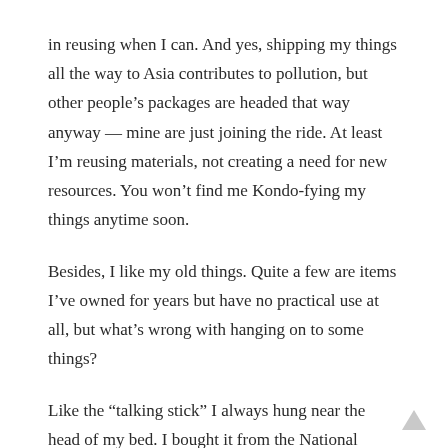in reusing when I can. And yes, shipping my things all the way to Asia contributes to pollution, but other people’s packages are headed that way anyway — mine are just joining the ride. At least I’m reusing materials, not creating a need for new resources. You won’t find me Kondo-fying my things anytime soon.
Besides, I like my old things. Quite a few are items I’ve owned for years but have no practical use at all, but what’s wrong with hanging on to some things?
Like the “talking stick” I always hung near the head of my bed. I bought it from the National Museum of the American Indian in Washington D.C., on a day trip I joined during International Student Orientation Week at Penn State, way back in 2003. Seeing that dark brown, pen-sized stick, mini feathers on a string and a ring of sea green beads stuck close to the tip, always told me I was home safe and sound in my own little space in this strange country. Now it’ll go